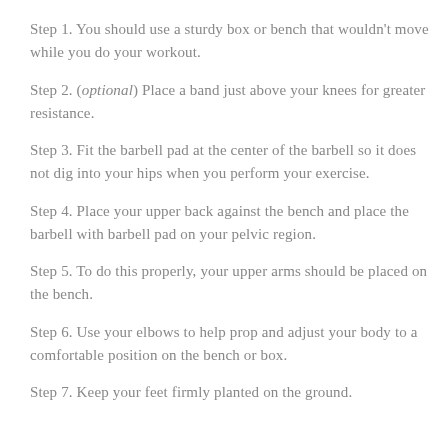Step 1. You should use a sturdy box or bench that wouldn't move while you do your workout.
Step 2. (optional) Place a band just above your knees for greater resistance.
Step 3. Fit the barbell pad at the center of the barbell so it does not dig into your hips when you perform your exercise.
Step 4. Place your upper back against the bench and place the barbell with barbell pad on your pelvic region.
Step 5. To do this properly, your upper arms should be placed on the bench.
Step 6. Use your elbows to help prop and adjust your body to a comfortable position on the bench or box.
Step 7. Keep your feet firmly planted on the ground.